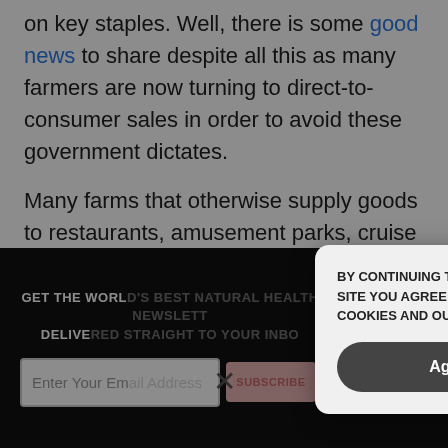on key staples. Well, there is some good news to share despite all this as many farmers are now turning to direct-to-consumer sales in order to avoid these government dictates.
Many farms that otherwise supply goods to restaurants, amusement parks, cruise lines, and other entities that remain largely closed due to Wuhan coronavirus (COVID-19) lockdowns are now turning their supply lines into community-supported agriculture (CSA) programs where everyday folks can order the food they need and have it
GET THE WORLD'S BEST NATURAL HEALTH NEWSLETTER DELIVERED STRAIGHT TO YOUR INBOX.
Enter Your Email Address
SUBSCRIBE
BY CONTINUING TO BROWSE OUR SITE YOU AGREE TO OUR USE OF COOKIES AND OUR PRIVACY POLICY.
Agree and close